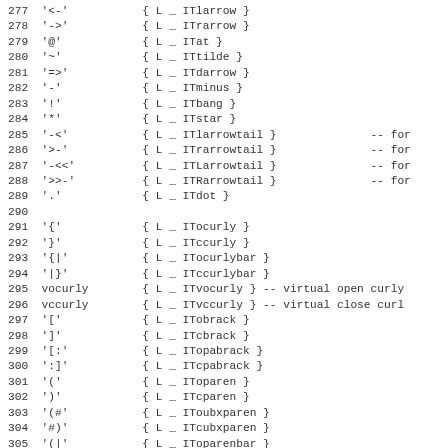277  '<-'           { L _ ITlarrow }
278  '->'           { L _ ITrarrow }
279  '@'            { L _ ITat }
280  '~'            { L _ ITtilde }
281  '=>'           { L _ ITdarrow }
282  '-'            { L _ ITminus }
283  '!'            { L _ ITbang }
284  '*'            { L _ ITstar }
285  '-<'           { L _ ITlarrowtail }              -- for
286  '>-'           { L _ ITrarrowtail }              -- for
287  '-<<'          { L _ ITLarrowtail }              -- for
288  '>>-'          { L _ ITRarrowtail }              -- for
289  '.'            { L _ ITdot }
290
291  '{'            { L _ ITocurly }
292  '}'            { L _ ITccurly }
293  '{|'           { L _ ITocurlybar }
294  '|}'           { L _ ITccurlybar }
295  vocurly        { L _ ITvocurly } -- virtual open curly
296  vccurly        { L _ ITvccurly } -- virtual close curl
297  '['            { L _ ITobrack }
298  ']'            { L _ ITcbrack }
299  '[:'           { L _ ITopabrack }
300  ':]'           { L _ ITcpabrack }
301  '('            { L _ IToparen }
302  ')'            { L _ ITcparen }
303  '(#'           { L _ IToubxparen }
304  '#)'           { L _ ITcubxparen }
305  '(|'           { L _ IToparenbar }
306  '|)'           { L _ ITcparenbar }
307  ';'            { L _ ITsemi }
308  ','            { L _ ITcomma }
309  'it'           { L _ ITt... }